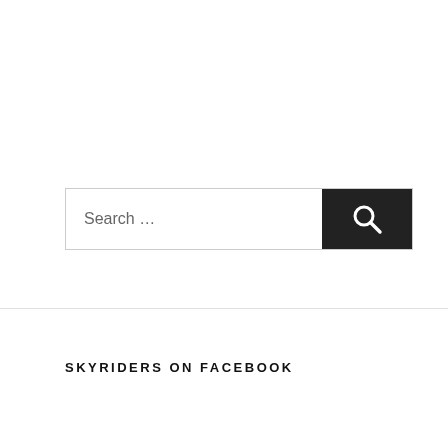[Figure (screenshot): Search bar with text input placeholder 'Search ...' and a dark search button with magnifying glass icon]
SKYRIDERS ON FACEBOOK